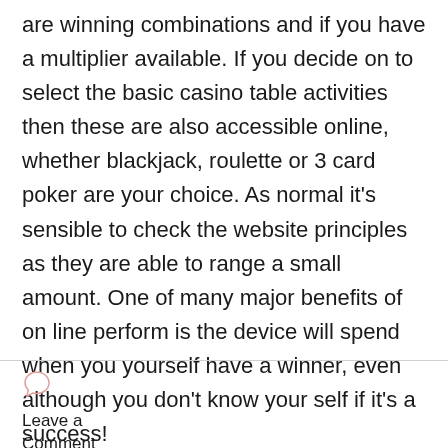are winning combinations and if you have a multiplier available. If you decide on to select the basic casino table activities then these are also accessible online, whether blackjack, roulette or 3 card poker are your choice. As normal it's sensible to check the website principles as they are able to range a small amount. One of many major benefits of on line perform is the device will spend when you yourself have a winner, even although you don't know your self if it's a success!
Leave a Comment